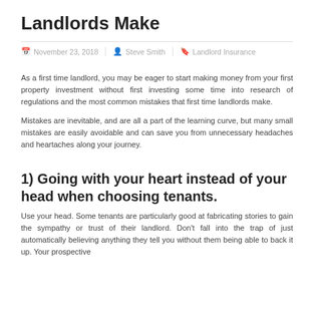Landlords Make
November 23, 2018  Steve Smith  Landlord Insurance
As a first time landlord, you may be eager to start making money from your first property investment without first investing some time into research of regulations and the most common mistakes that first time landlords make.
Mistakes are inevitable, and are all a part of the learning curve, but many small mistakes are easily avoidable and can save you from unnecessary headaches and heartaches along your journey.
1) Going with your heart instead of your head when choosing tenants.
Use your head. Some tenants are particularly good at fabricating stories to gain the sympathy or trust of their landlord. Don't fall into the trap of just automatically believing anything they tell you without them being able to back it up. Your prospective